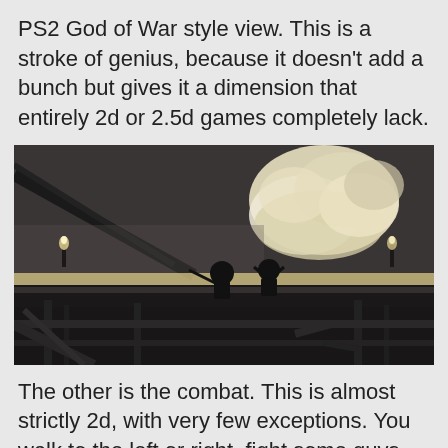PS2 God of War style view. This is a stroke of genius, because it doesn't add a bunch but gives it a dimension that entirely 2d or 2.5d games completely lack.
[Figure (photo): Black and white screenshot from a video game showing two silhouetted characters on a ledge or beam, with a dramatic bright explosion or cloud in the background. The scene is dark and atmospheric.]
The other is the combat. This is almost strictly 2d, with very few exceptions. You walk to the left or right, fight some guys, move on. The fighting